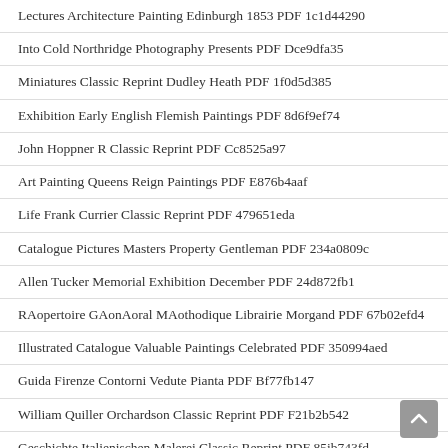Lectures Architecture Painting Edinburgh 1853 PDF 1c1d44290
Into Cold Northridge Photography Presents PDF Dce9dfa35
Miniatures Classic Reprint Dudley Heath PDF 1f0d5d385
Exhibition Early English Flemish Paintings PDF 8d6f9ef74
John Hoppner R Classic Reprint PDF Cc8525a97
Art Painting Queens Reign Paintings PDF E876b4aaf
Life Frank Currier Classic Reprint PDF 479651eda
Catalogue Pictures Masters Property Gentleman PDF 234a0809c
Allen Tucker Memorial Exhibition December PDF 24d872fb1
RAopertoire GAonAoral MAothodique Librairie Morgand PDF 67b02efd4
Illustrated Catalogue Valuable Paintings Celebrated PDF 350994aed
Guida Firenze Contorni Vedute Pianta PDF Bf77fb147
William Quiller Orchardson Classic Reprint PDF F21b2b542
Geschichte Italienischen Malerei Classic Reprint PDF 85ib743fd